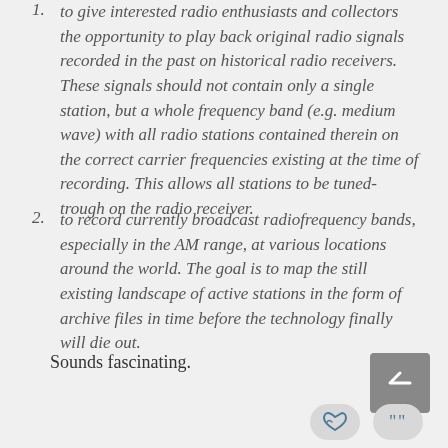1. to give interested radio enthusiasts and collectors the opportunity to play back original radio signals recorded in the past on historical radio receivers. These signals should not contain only a single station, but a whole frequency band (e.g. medium wave) with all radio stations contained therein on the correct carrier frequencies existing at the time of recording. This allows all stations to be tuned-trough on the radio receiver.
2. to record currently broadcast radiofrequency bands, especially in the AM range, at various locations around the world. The goal is to map the still existing landscape of active stations in the form of archive files in time before the technology finally will die out.
Sounds fascinating.